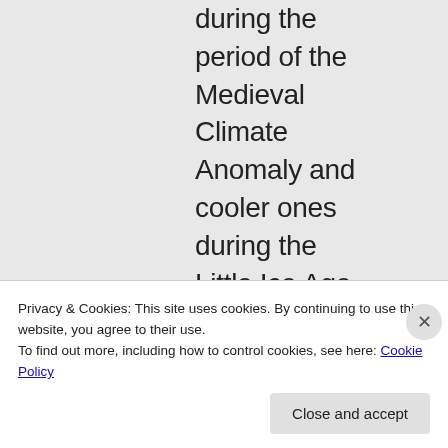during the period of the Medieval Climate Anomaly and cooler ones during the Little Ice Age.

What I think you may have come across
Privacy & Cookies: This site uses cookies. By continuing to use this website, you agree to their use.
To find out more, including how to control cookies, see here: Cookie Policy